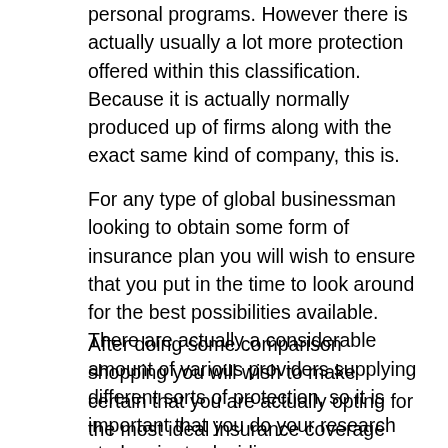personal programs. However there is actually usually a lot more protection offered within this classification. Because it is actually normally produced up of firms along with the exact same kind of company, this is.
For any type of global businessman looking to obtain some form of insurance plan you will wish to ensure that you put in the time to look around for the best possibilities available. There are actually a considerable amount of various providers supplying different sorts of protection, so it is important that you do your research study prior to deciding.
After doing some comparison shopping you will wish to make certain that you are actually opting for the most ideal insurance coverage that matches your needs. There is actually a great deal of various coverage options for your international business owner. If your service has staff members or even if you are actually operating worldwide as well as you